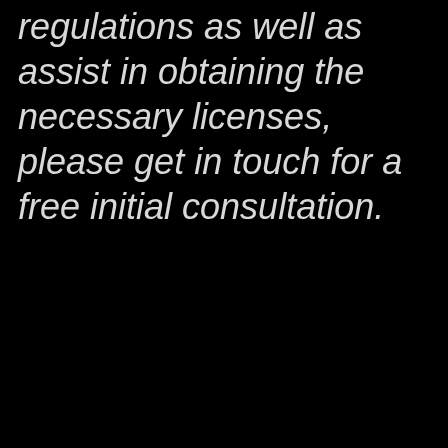regulations as well as assist in obtaining the necessary licenses, please get in touch for a free initial consultation.